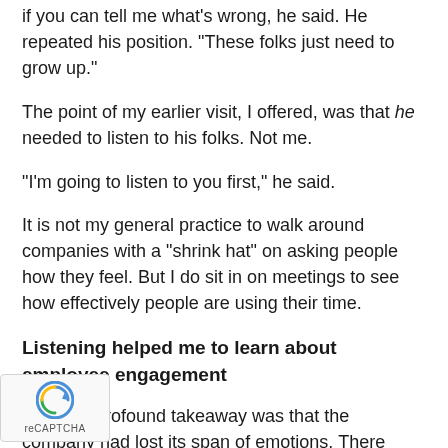if you can tell me what's wrong, he said. He repeated his position. "These folks just need to grow up."
The point of my earlier visit, I offered, was that he needed to listen to his folks. Not me.
"I'm going to listen to you first," he said.
It is not my general practice to walk around companies with a "shrink hat" on asking people how they feel. But I do sit in on meetings to see how effectively people are using their time.
Listening helped me to learn about employee engagement
My most profound takeaway was that the company had lost its span of emotions. There were no screaming matches but no celebrations, either. No aggressive behaviors—yet plenty of the passive aggressive kind. It seemed that fear was